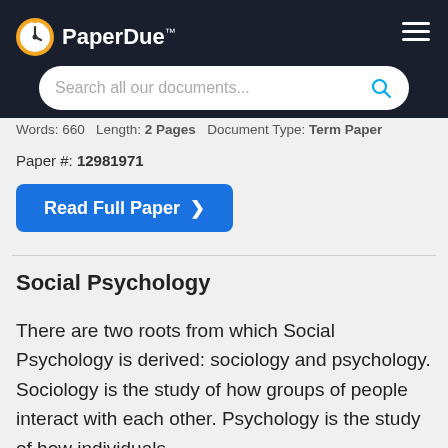PaperDue™
Words: 660   Length: 2 Pages   Document Type: Term Paper
Paper #: 12981971
Read Full Paper ❯
Social Psychology
There are two roots from which Social Psychology is derived: sociology and psychology. Sociology is the study of how groups of people interact with each other. Psychology is the study of how individuals